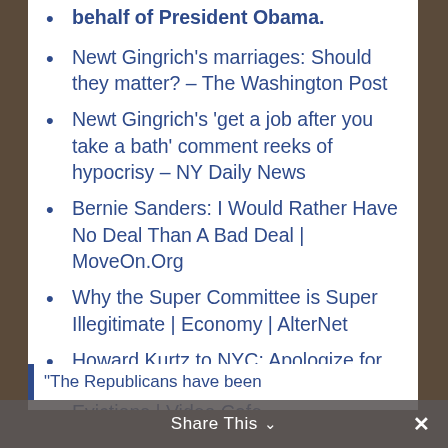behalf of President Obama.
Newt Gingrich’s marriages: Should they matter? – The Washington Post
Newt Gingrich’s ‘get a job after you take a bath’ comment reeks of hypocrisy – NY Daily News
Bernie Sanders: I Would Rather Have No Deal Than A Bad Deal | MoveOn.Org
Why the Super Committee is Super Illegitimate | Economy | AlterNet
Howard Kurtz to NYC: Apologize for Media ‘Censorship’ of Occupy Evictions | Video Cafe
Elizabeth Warren: Obama’s natural heir? – The Washington Post
“The Republicans have been